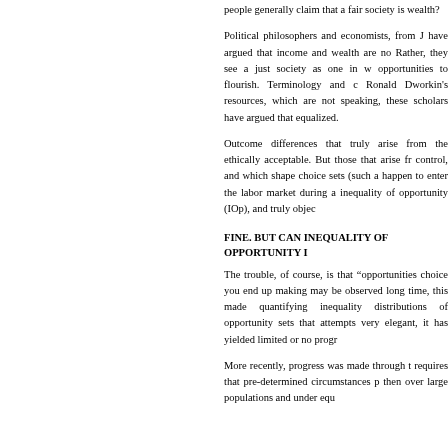people generally claim that a fair society is... wealth?
Political philosophers and economists, from J... have argued that income and wealth are no... Rather, they see a just society as one in w... opportunities to flourish. Terminology and c... Ronald Dworkin's resources, which are not... speaking, these scholars have argued that... equalized.
Outcome differences that truly arise from the... ethically acceptable. But those that arise fr... control, and which shape choice sets (such a... happen to enter the labor market during a... inequality of opportunity (IOp), and truly objec...
FINE. BUT CAN INEQUALITY OF OPPORTUNITY I...
The trouble, of course, is that "opportunities... choice you end up making may be observed... long time, this made quantifying inequality... distributions of opportunity sets that attempts... very elegant, it has yielded limited or no progr...
More recently, progress was made through t... requires that pre-determined circumstances p... then over large populations and under equ...